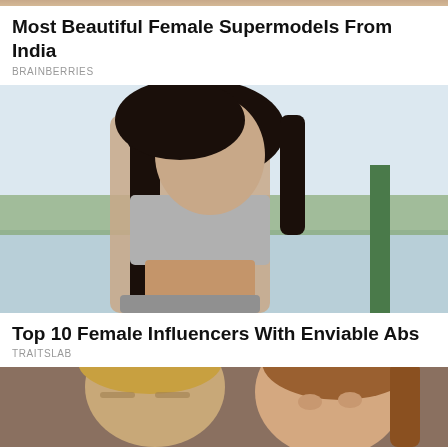[Figure (photo): Cropped top of image showing people - partial view at top of page]
Most Beautiful Female Supermodels From India
BRAINBERRIES
[Figure (photo): Woman with long dark hair wearing a grey sports bra and grey sweatpants, showing toned abs, standing outdoors near water with palm trees]
Top 10 Female Influencers With Enviable Abs
TRAITSLAB
[Figure (photo): A man with blonde hair and a woman with brown highlighted hair at what appears to be a formal event, partially cropped at bottom of page]